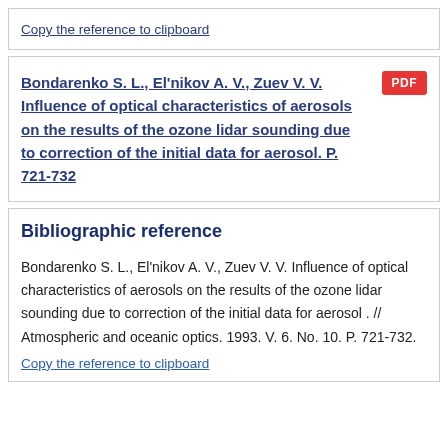Copy the reference to clipboard
Bondarenko S. L., El'nikov A. V., Zuev V. V. Influence of optical characteristics of aerosols on the results of the ozone lidar sounding due to correction of the initial data for aerosol. P. 721-732
Bibliographic reference
Bondarenko S. L., El'nikov A. V., Zuev V. V. Influence of optical characteristics of aerosols on the results of the ozone lidar sounding due to correction of the initial data for aerosol . // Atmospheric and oceanic optics. 1993. V. 6. No. 10. P. 721-732.
Copy the reference to clipboard